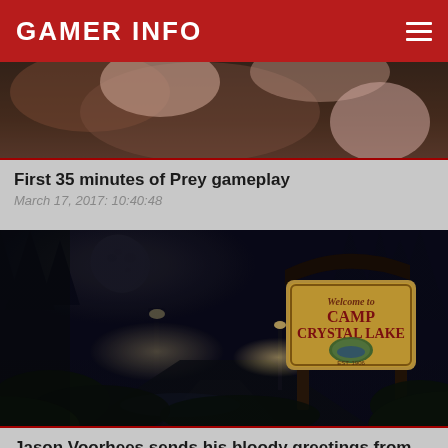GAMER INFO
[Figure (photo): Close-up dark photo, appears to be a game character or scene, partially visible at top of page]
First 35 minutes of Prey gameplay
March 17, 2017: 10:40:48
[Figure (photo): Night scene showing a 'Welcome to Camp Crystal Lake' sign, full moon visible in background, dark forest setting — from Friday the 13th game]
Jason Voorhees sends his bloody greetings from PAX East 2017
March 13, 2017: 07:14:41